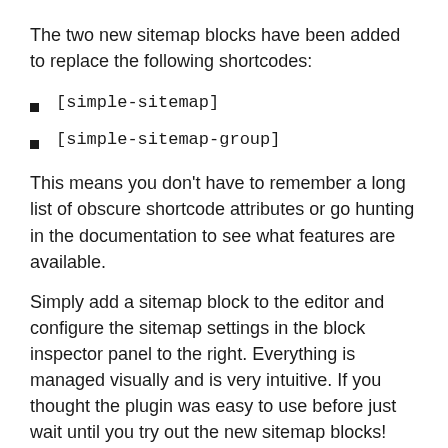The two new sitemap blocks have been added to replace the following shortcodes:
[simple-sitemap]
[simple-sitemap-group]
This means you don't have to remember a long list of obscure shortcode attributes or go hunting in the documentation to see what features are available.
Simply add a sitemap block to the editor and configure the sitemap settings in the block inspector panel to the right. Everything is managed visually and is very intuitive. If you thought the plugin was easy to use before just wait until you try out the new sitemap blocks!
Be prepared to be blown away at just how quick and easy it is to add a sitemap and configure settings.